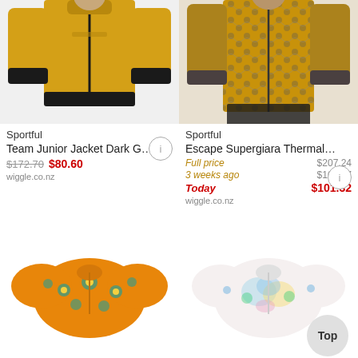[Figure (photo): Yellow/mustard cycling jacket worn by a person, cropped torso view with black cuffs and zipper]
Sportful
Team Junior Jacket Dark G…
$172.70 $80.60
wiggle.co.nz
[Figure (photo): Yellow and dark patterned cycling jersey worn by a person, cropped torso view]
Sportful
Escape Supergiara Thermal…
Full price $207.24
3 weeks ago $107.47
Today $101.32
wiggle.co.nz
[Figure (photo): Orange floral-patterned short-sleeve cycling jersey, flat lay view]
[Figure (photo): White/pastel tie-dye floral short-sleeve cycling jersey, flat lay view]